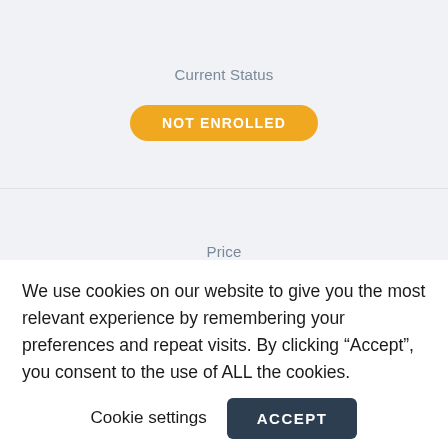Current Status
NOT ENROLLED
Price
Free
We use cookies on our website to give you the most relevant experience by remembering your preferences and repeat visits. By clicking “Accept”, you consent to the use of ALL the cookies.
Cookie settings
ACCEPT